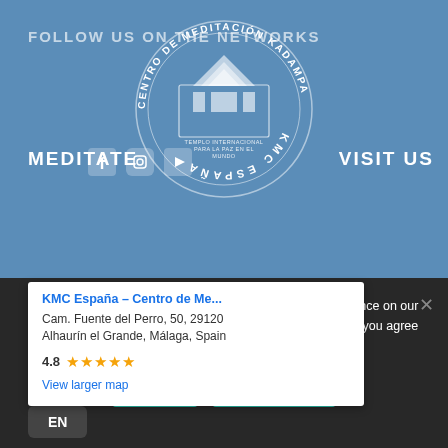FOLLOW US ON THE NETWORKS
MEDITATE
[Figure (logo): Centro de Meditación Kadampa KMC España circular logo with temple illustration and text 'Templo Internacional Para La Paz En El Mundo']
VISIT US
KMC España – Centro de Me...
Cam. Fuente del Perro, 50, 29120 Alhaurín el Grande, Málaga, Spain
4.8 ★★★★★
View larger map
[Figure (map): Google Maps showing location near Coín, Monda, Cartama area in Málaga, Spain with a red location pin marker]
We use cookies to ensure that we give you the best experience on our website. If you continue to use this site, we will assume that you agree to it.
I agree
Privacy Policy
EN